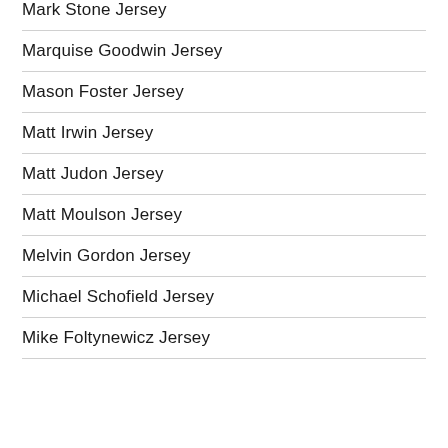Mark Stone Jersey
Marquise Goodwin Jersey
Mason Foster Jersey
Matt Irwin Jersey
Matt Judon Jersey
Matt Moulson Jersey
Melvin Gordon Jersey
Michael Schofield Jersey
Mike Foltynewicz Jersey